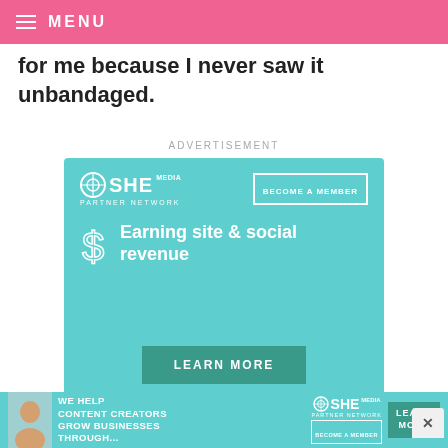MENU
for me because I never saw it unbandaged.
ADVERTISEMENT
[Figure (infographic): SHE Media Partner Network advertisement with teal background. Top row shows SHE Media logo and 'BECOME A MEMBER' button. Dollar sign icon with text 'Earning site & social revenue'. 'LEARN MORE' button at bottom.]
[Figure (infographic): Bottom banner ad for SHE Media Partner Network with teal background showing a woman with laptop, text 'WE HELP CONTENT CREATORS GROW BUSINESSES THROUGH...', SHE Media logo, and LEARN MORE button.]